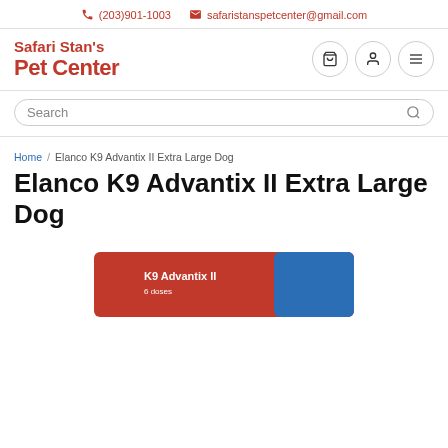(203)901-1003   safaristanspetcenter@gmail.com
[Figure (logo): Safari Stan's Pet Center logo in red/orange bold text]
Search
Home / Elanco K9 Advantix II Extra Large Dog
Elanco K9 Advantix II Extra Large Dog
[Figure (photo): Partial product image of K9 Advantix II box at bottom of page]